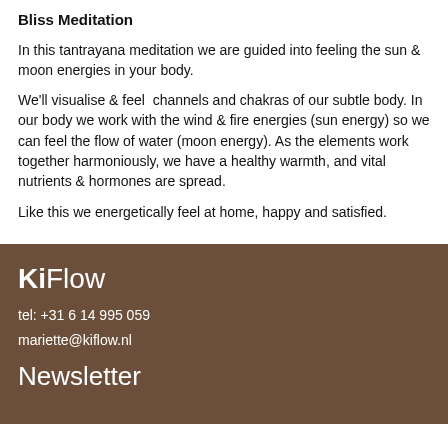Bliss Meditation
In this tantrayana meditation we are guided into feeling the sun & moon energies in your body.
We'll visualise & feel  channels and chakras of our subtle body. In our body we work with the wind & fire energies (sun energy) so we can feel the flow of water (moon energy). As the elements work together harmoniously, we have a healthy warmth, and vital nutrients & hormones are spread.
Like this we energetically feel at home, happy and satisfied.
KiFlow
tel: +31 6 14 995 059
mariette@kiflow.nl
Newsletter